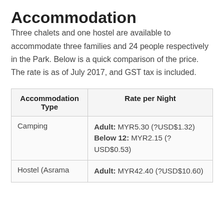Accommodation
Three chalets and one hostel are available to accommodate three families and 24 people respectively in the Park. Below is a quick comparison of the price. The rate is as of July 2017, and GST tax is included.
| Accommodation Type | Rate per Night |
| --- | --- |
| Camping | Adult: MYR5.30 (?USD$1.32)
Below 12: MYR2.15 (?USD$0.53) |
| Hostel (Asrama | Adult: MYR42.40 (?USD$10.60) |